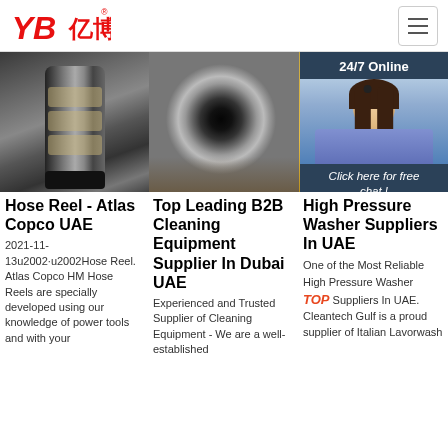YB亿博® logo and navigation
[Figure (photo): Three product photos in a row: industrial hose reel component, black rubber pipe end, and high pressure washer equipment with a 24/7 online chat overlay showing a female customer service agent]
Hose Reel - Atlas Copco UAE
2021-11-13u2002·u2002Hose Reel. Atlas Copco HM Hose Reels are specially developed using our knowledge of power tools and with your
Top Leading B2B Cleaning Equipment Supplier In Dubai UAE
Experienced and Trusted Supplier of Cleaning Equipment - We are a well-established
High Pressure Washer Suppliers In UAE
One of the Most Reliable High Pressure Washer Suppliers In UAE. Cleantech Gulf is a proud supplier of Italian Lavorwash